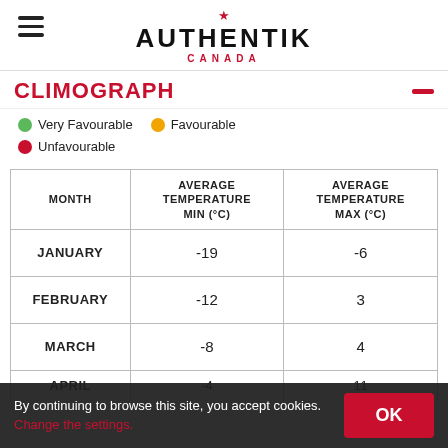AUTHENTIK CANADA
CLIMOGRAPH
Very Favourable
Favourable
Unfavourable
| MONTH | AVERAGE TEMPERATURE MIN (°C) | AVERAGE TEMPERATURE MAX (°C) |
| --- | --- | --- |
| JANUARY | -19 | -6 |
| FEBRUARY | -12 | 3 |
| MARCH | -8 | 4 |
| APRIL | -4 | 11 |
By continuing to browse this site, you accept cookies. Change the settings.